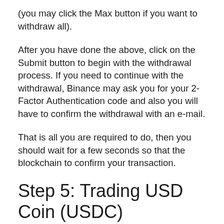(you may click the Max button if you want to withdraw all).
After you have done the above, click on the Submit button to begin with the withdrawal process. If you need to continue with the withdrawal, Binance may ask you for your 2-Factor Authentication code and also you will have to confirm the withdrawal with an e-mail.
That is all you are required to do, then you should wait for a few seconds so that the blockchain to confirm your transaction.
Step 5: Trading USD Coin (USDC)